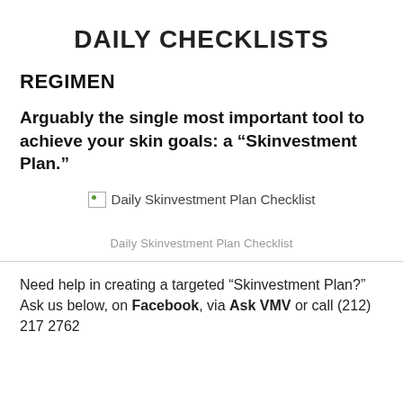DAILY CHECKLISTS
REGIMEN
Arguably the single most important tool to achieve your skin goals: a “Skinvestment Plan.”
[Figure (other): Broken image placeholder for Daily Skinvestment Plan Checklist]
Daily Skinvestment Plan Checklist
Need help in creating a targeted “Skinvestment Plan?” Ask us below, on Facebook, via Ask VMV or call (212) 217 2762